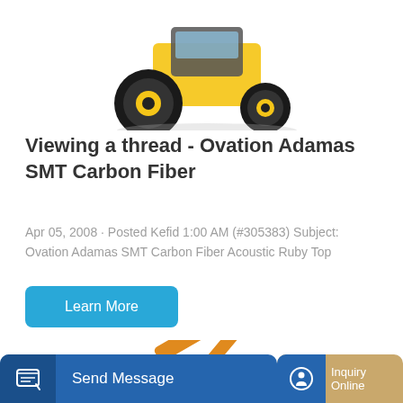[Figure (photo): Yellow heavy construction vehicle / tractor with large black tires, partially cropped at top of page]
Viewing a thread - Ovation Adamas SMT Carbon Fiber
Apr 05, 2008 · Posted Kefid 1:00 AM (#305383) Subject: Ovation Adamas SMT Carbon Fiber Acoustic Ruby Top
Learn More
[Figure (photo): Orange excavator / construction machinery partially visible at the bottom of the page]
Send Message
Inquiry Online